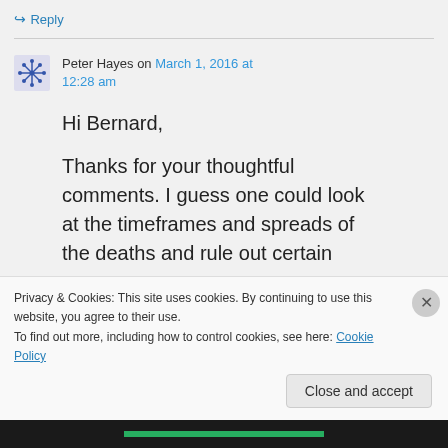↪ Reply
Peter Hayes on March 1, 2016 at 12:28 am
Hi Bernard,

Thanks for your thoughtful comments. I guess one could look at the timeframes and spreads of the deaths and rule out certain
Privacy & Cookies: This site uses cookies. By continuing to use this website, you agree to their use.
To find out more, including how to control cookies, see here: Cookie Policy